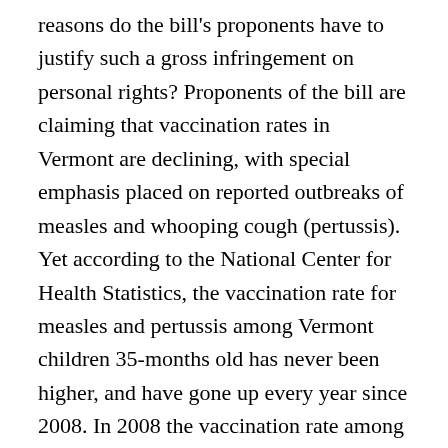reasons do the bill's proponents have to justify such a gross infringement on personal rights? Proponents of the bill are claiming that vaccination rates in Vermont are declining, with special emphasis placed on reported outbreaks of measles and whooping cough (pertussis). Yet according to the National Center for Health Statistics, the vaccination rate for measles and pertussis among Vermont children 35-months old has never been higher, and have gone up every year since 2008. In 2008 the vaccination rate among 35-month old children in Vermont for the measles vaccine was 88.1%, in 2009 the rate had gone up to 91.9% and in 2010 the rate was 92.7%. Similarly, the vaccination rate for 4 doses of the pertussis vaccine among 35-month old children in Vermont was 79.9%